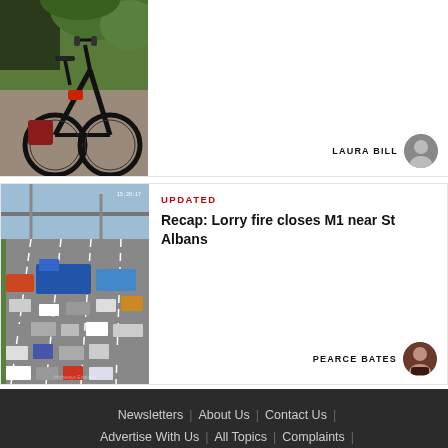[Figure (photo): Photo of a black bicycle leaning against a wall with plants in the background]
LAURA BILL
[Figure (photo): Aerial CCTV camera view of heavy traffic on M1 motorway with lorries and cars]
UPDATED
Recap: Lorry fire closes M1 near St Albans
PEARCE BATES
Newsletters | About Us | Contact Us | Advertise With Us | All Topics | Complaints |
By clicking “Accept All Cookies”, you agree to the storing of cookies on your device to enhance site navigation, analyze site usage, and assist in our marketing efforts.